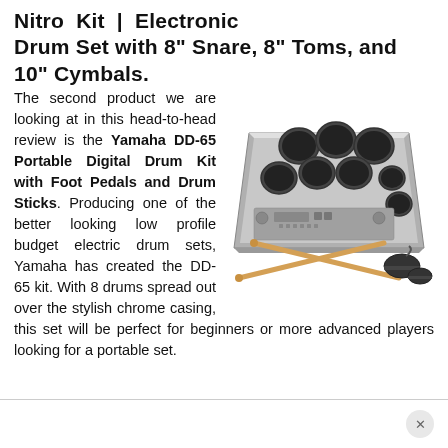Nitro Kit | Electronic Drum Set with 8" Snare, 8" Toms, and 10" Cymbals.
[Figure (photo): Photo of the Yamaha DD-65 Portable Digital Drum Kit showing the silver/chrome drum pad unit with 8 black pads, drumsticks, and foot pedals]
The second product we are looking at in this head-to-head review is the Yamaha DD-65 Portable Digital Drum Kit with Foot Pedals and Drum Sticks. Producing one of the better looking low profile budget electric drum sets, Yamaha has created the DD-65 kit. With 8 drums spread out over the stylish chrome casing, this set will be perfect for beginners or more advanced players looking for a portable set.